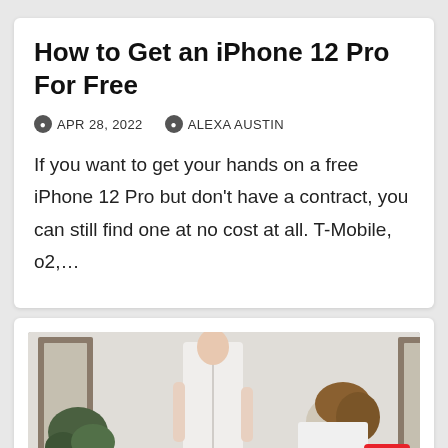How to Get an iPhone 12 Pro For Free
APR 28, 2022   ALEXA AUSTIN
If you want to get your hands on a free iPhone 12 Pro but don't have a contract, you can still find one at no cost at all. T-Mobile, o2,…
[Figure (photo): Two women in a wedding setting; one wearing a backless white dress, another helping her, with plants and ornate mirror frame visible in background. A red scroll-to-top button is visible in bottom-right corner.]